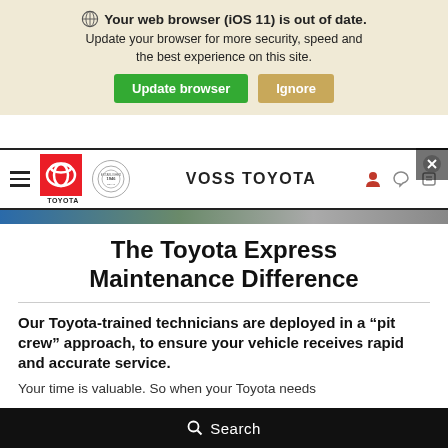The health and safety of our staff, customers, and community is our top priority. Read an important message from Voss Toyota
Your web browser (iOS 11) is out of date. Update your browser for more security, speed and the best experience on this site.
VOSS TOYOTA
The Toyota Express Maintenance Difference
Our Toyota-trained technicians are deployed in a “pit crew” approach, to ensure your vehicle receives rapid and accurate service.
Your time is valuable. So when your Toyota needs
Search